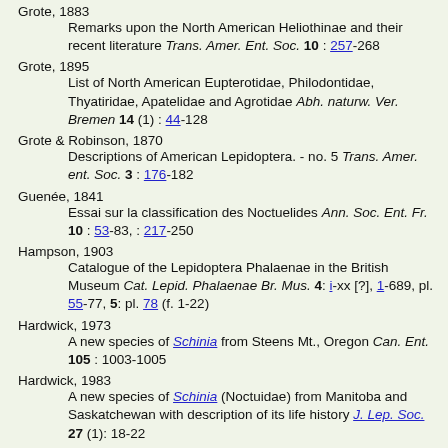Grote, 1883 — Remarks upon the North American Heliothinae and their recent literature Trans. Amer. Ent. Soc. 10 : 257-268
Grote, 1895 — List of North American Eupterotidae, Philodontidae, Thyatiridae, Apatelidae and Agrotidae Abh. naturw. Ver. Bremen 14 (1) : 44-128
Grote & Robinson, 1870 — Descriptions of American Lepidoptera. - no. 5 Trans. Amer. ent. Soc. 3 : 176-182
Guenée, 1841 — Essai sur la classification des Noctuelides Ann. Soc. Ent. Fr. 10 : 53-83, : 217-250
Hampson, 1903 — Catalogue of the Lepidoptera Phalaenae in the British Museum Cat. Lepid. Phalaenae Br. Mus. 4: i-xx [?], 1-689, pl. 55-77, 5: pl. 78 (f. 1-22)
Hardwick, 1973 — A new species of Schinia from Steens Mt., Oregon Can. Ent. 105 : 1003-1005
Hardwick, 1983 — A new species of Schinia (Noctuidae) from Manitoba and Saskatchewan with description of its life history J. Lep. Soc. 27 (1): 18-22